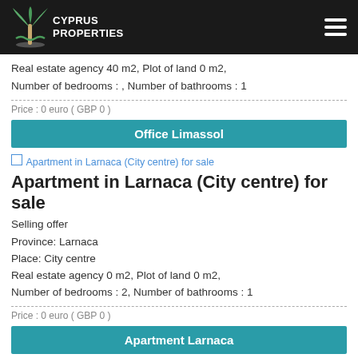Cyprus Properties
Real estate agency 40 m2, Plot of land 0 m2,
Number of bedrooms : , Number of bathrooms : 1
Price : 0 euro ( GBP 0 )
Office Limassol
Apartment in Larnaca (City centre) for sale
Apartment in Larnaca (City centre) for sale
Selling offer
Province: Larnaca
Place: City centre
Real estate agency 0 m2, Plot of land 0 m2,
Number of bedrooms : 2, Number of bathrooms : 1
Price : 0 euro ( GBP 0 )
Apartment Larnaca